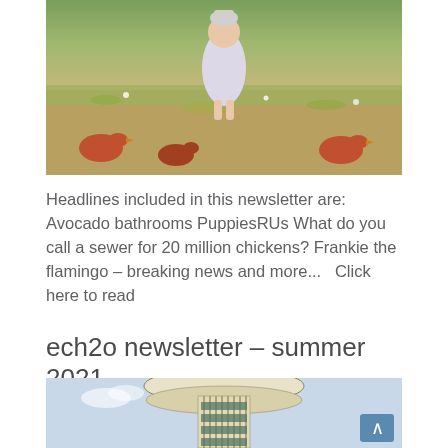[Figure (photo): Child in white dress walking in a field with chickens, vintage photo]
Headlines included in this newsletter are: Avocado bathrooms PuppiesRUs What do you call a sewer for 20 million chickens? Frankie the flamingo – breaking news and more...   Click here to read
ech2o newsletter – summer 2021
[Figure (photo): Water tower with striped cylindrical structure against a light blue sky]